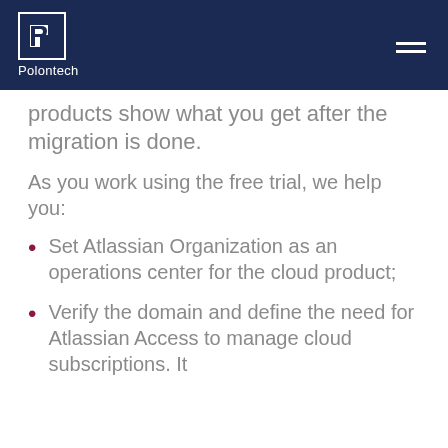Polontech
products show what you get after the migration is done.
As you work using the free trial, we help you:
Set Atlassian Organization as an operations center for the cloud product;
Verify the domain and define the need for Atlassian Access to manage cloud subscriptions. It